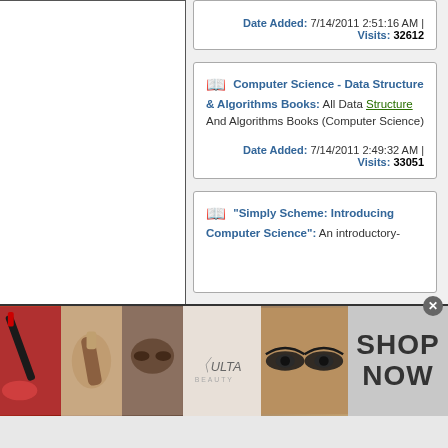Date Added: 7/14/2011 2:51:16 AM | Visits: 32612
Computer Science - Data Structure & Algorithms Books: All Data Structure And Algorithms Books (Computer Science) | Date Added: 7/14/2011 2:49:32 AM | Visits: 33051
"Simply Scheme: Introducing Computer Science": An introductory-
[Figure (photo): Ulta Beauty advertisement banner showing beauty/makeup photos with SHOP NOW call to action]